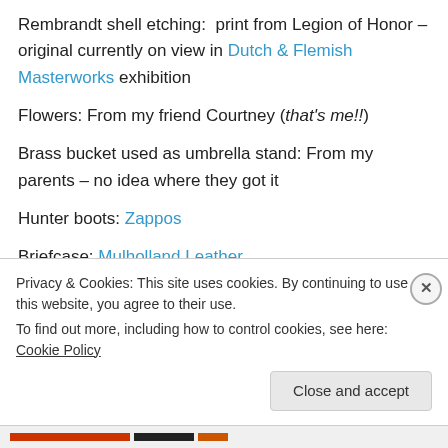Rembrandt shell etching:  print from Legion of Honor – original currently on view in Dutch & Flemish Masterworks exhibition
Flowers: From my friend Courtney (that's me!!)
Brass bucket used as umbrella stand: From my parents – no idea where they got it
Hunter boots: Zappos
Briefcase: Mulholland Leather
It's really satisfying to see something that was once considered trash be used in such a great way!  And it also
Privacy & Cookies: This site uses cookies. By continuing to use this website, you agree to their use.
To find out more, including how to control cookies, see here: Cookie Policy
Close and accept